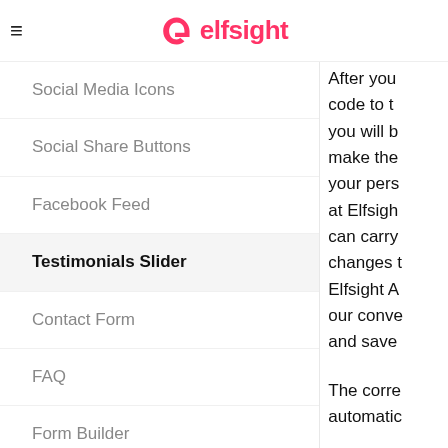elfsight
Social Media Icons
Social Share Buttons
Facebook Feed
Testimonials Slider
Contact Form
FAQ
Form Builder
Twitter Feed
Countdown Timer
After you code to t you will b make the your pers at Elfsigh can carry changes t Elfsight A our conve and save The corre automatic